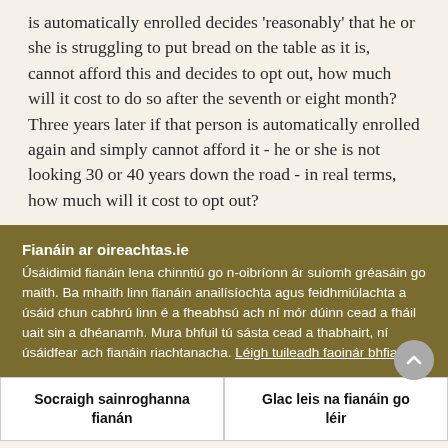is automatically enrolled decides 'reasonably' that he or she is struggling to put bread on the table as it is, cannot afford this and decides to opt out, how much will it cost to do so after the seventh or eight month? Three years later if that person is automatically enrolled again and simply cannot afford it - he or she is not looking 30 or 40 years down the road - in real terms, how much will it cost to opt out?
Fianáin ar oireachtas.ie
Úsáidimid fianáin lena chinntiú go n-oibríonn ár suíomh gréasáin go maith. Ba mhaith linn fianáin anailísíochta agus feidhmiúlachta a úsáid chun cabhrú linn é a fheabhsú ach ní mór dúinn cead a fháil uait sin a dhéanamh. Mura bhfuil tú sásta cead a thabhairt, ní úsáidfear ach fianáin riachtanacha. Léigh tuileadh faoinár bhfianáin
Socraigh sainroghanna fianán
Glac leis na fianáin go léir